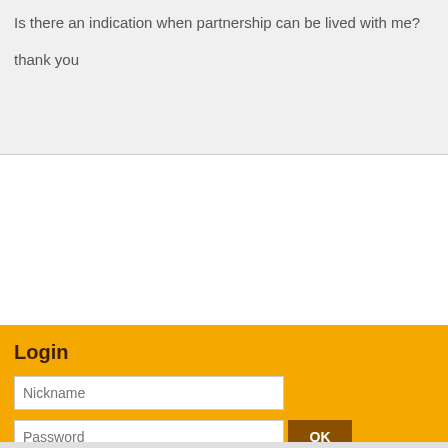Is there an indication when partnership can be lived with me?
thank you
Login
Nickname
Password
OK
Register »